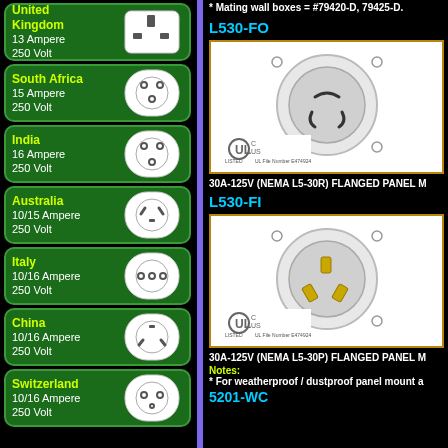United Kingdom
13 Ampere
250 Volt
South Africa
15 Ampere
250 Volt
India
16 Ampere
250 Volt
Australia
10/15 Ampere
250 Volt
Italy
10/16 Ampere
250 Volt
China
10/16 Ampere
250 Volt
Switzerland
10/16 Ampere
250 Volt
* Mating wall boxes = #79420-D, 79425-D.
L530-FO
[Figure (photo): Flanged outlet panel mount connector L530-FO, white circular with locking slots, UL listed, UL File Number E474924]
30A-125V (NEMA L5-30R) FLANGED PANEL M
L530-FI
[Figure (photo): Flanged inlet panel mount connector L530-FI, white circular with brass prongs, UL listed, UL File Number E474924]
30A-125V (NEMA L5-30P) FLANGED PANEL M
Notes:
* For weatherproof / dustproof panel mount a
5201-WC